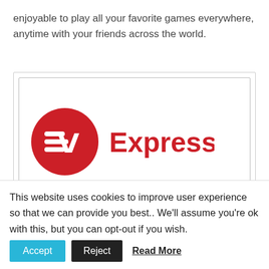enjoyable to play all your favorite games everywhere, anytime with your friends across the world.
[Figure (logo): ExpressVPN logo: red circle with stylized 'EV' mark in white, followed by 'ExpressVPN' text in red]
# 1 VPN For Gaming - ExpressVPN
Get install ExpressVPN on your device now at best price deal. Start playing your favorite game with ExpressVPN.
This website uses cookies to improve user experience so that we can provide you best.. We'll assume you're ok with this, but you can opt-out if you wish.